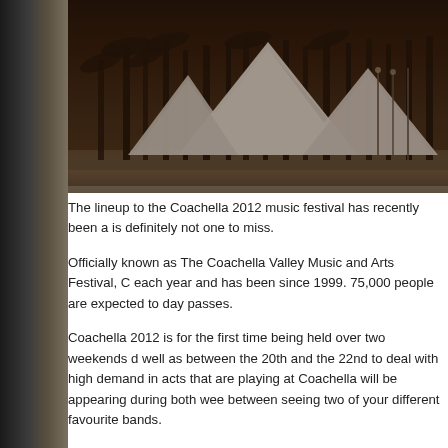[Figure (photo): Outdoor festival venue photo showing large white tent structures against a backdrop of palm trees and mountains, with a dark sepia/moody tone. Likely Coachella festival grounds.]
The lineup to the Coachella 2012 music festival has recently been a is definitely not one to miss.
Officially known as The Coachella Valley Music and Arts Festival, C each year and has been since 1999. 75,000 people are expected to day passes.
Coachella 2012 is for the first time being held over two weekends d well as between the 20th and the 22nd to deal with high demand in acts that are playing at Coachella will be appearing during both wee between seeing two of your different favourite bands.
The headliners for Coachella 2012 consist of The Black Keys on the Saturdays and Dr. Dre & Snoop Dogg on the Sundays. There's som Coachella with a remarkably varied selection of artists. Other notab